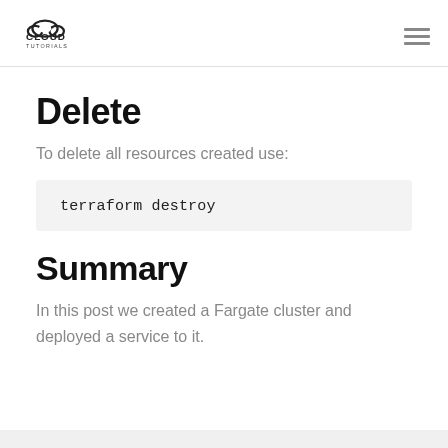CLOUD TUTORIALS
Delete
To delete all resources created use:
terraform destroy
Summary
In this post we created a Fargate cluster and deployed a service to it.